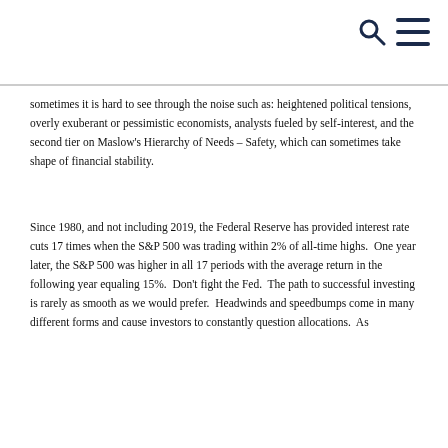sometimes it is hard to see through the noise such as: heightened political tensions, overly exuberant or pessimistic economists, analysts fueled by self-interest, and the second tier on Maslow's Hierarchy of Needs – Safety, which can sometimes take shape of financial stability.
Since 1980, and not including 2019, the Federal Reserve has provided interest rate cuts 17 times when the S&P 500 was trading within 2% of all-time highs.  One year later, the S&P 500 was higher in all 17 periods with the average return in the following year equaling 15%.  Don't fight the Fed.  The path to successful investing is rarely as smooth as we would prefer.  Headwinds and speedbumps come in many different forms and cause investors to constantly question allocations.  As